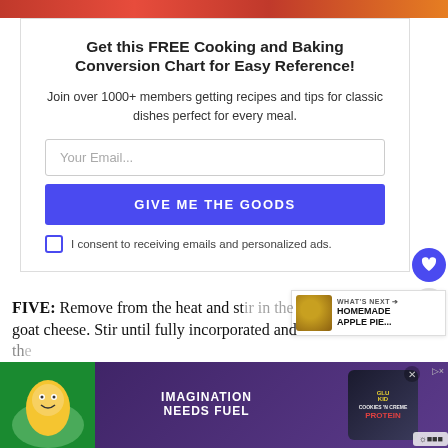[Figure (photo): Top strip of food image, partially cropped]
Get this FREE Cooking and Baking Conversion Chart for Easy Reference!
Join over 1000+ members getting recipes and tips for classic dishes perfect for every meal.
Your Email... [email input field]
GIVE ME THE GOODS [button]
I consent to receiving emails and personalized ads.
FIVE: Remove from the heat and stir in the goat cheese. Stir until fully incorporated and the...
[Figure (infographic): What's Next panel showing Homemade Apple Pie]
[Figure (photo): Advertisement banner: Imagination Needs Fuel, Cookies N Creme protein bar]